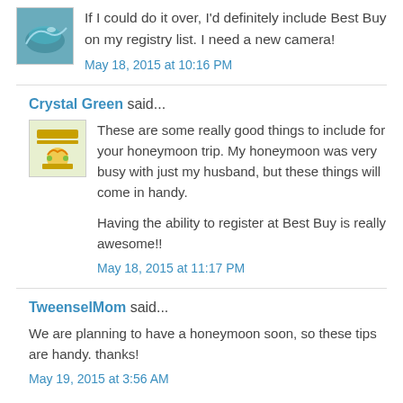If I could do it over, I'd definitely include Best Buy on my registry list. I need a new camera!
May 18, 2015 at 10:16 PM
Crystal Green said...
These are some really good things to include for your honeymoon trip. My honeymoon was very busy with just my husband, but these things will come in handy.
Having the ability to register at Best Buy is really awesome!!
May 18, 2015 at 11:17 PM
TweenselMom said...
We are planning to have a honeymoon soon, so these tips are handy. thanks!
May 19, 2015 at 3:56 AM